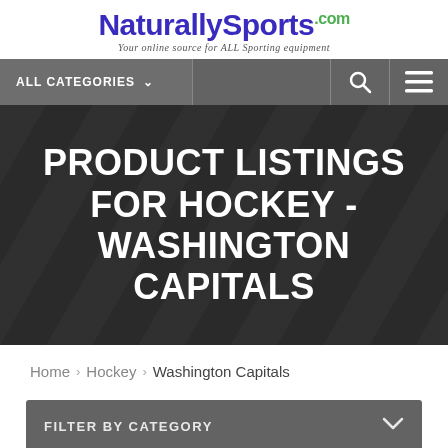[Figure (logo): NaturallySports.com logo with tagline 'Your online source for ALL Sporting equipment']
ALL CATEGORIES
PRODUCT LISTINGS FOR HOCKEY - WASHINGTON CAPITALS
Home > Hockey > Washington Capitals
FILTER BY CATEGORY